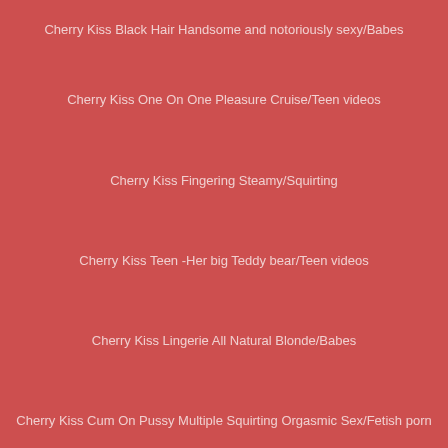Cherry Kiss Black Hair Handsome and notoriously sexy/Babes
Cherry Kiss One On One Pleasure Cruise/Teen videos
Cherry Kiss Fingering Steamy/Squirting
Cherry Kiss Teen -Her big Teddy bear/Teen videos
Cherry Kiss Lingerie All Natural Blonde/Babes
Cherry Kiss Cum On Pussy Multiple Squirting Orgasmic Sex/Fetish porn